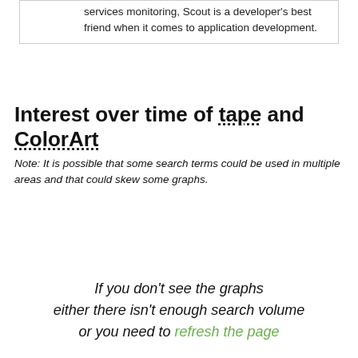services monitoring, Scout is a developer's best friend when it comes to application development.
Interest over time of tape and ColorArt
Note: It is possible that some search terms could be used in multiple areas and that could skew some graphs.
If you don't see the graphs either there isn't enough search volume or you need to refresh the page